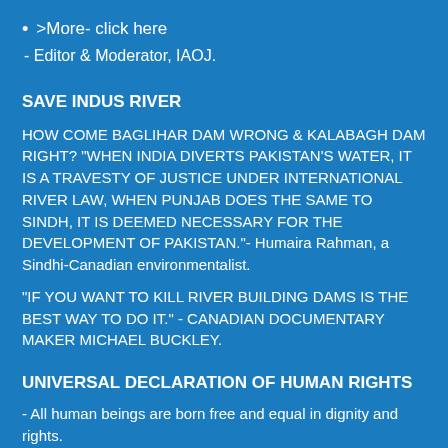>More- click here
- Editor & Moderator, IAOJ.
SAVE INDUS RIVER
HOW COME BAGLIHAR DAM WRONG & KALABAGH DAM RIGHT? "WHEN INDIA DIVERTS PAKISTAN'S WATER, IT IS A TRAVESTY OF JUSTICE UNDER INTERNATIONAL RIVER LAW, WHEN PUNJAB DOES THE SAME TO SINDH, IT IS DEEMED NECESSARY FOR THE DEVELOPMENT OF PAKISTAN."- Humaira Rahman, a Sindhi-Canadian environmentalist.
"IF YOU WANT TO KILL RIVER BUILDING DAMS IS THE BEST WAY TO DO IT." - CANADIAN DOCUMENTARY MAKER MICHAEL BUCKLEY.
UNIVERSAL DECLARATION OF HUMAN RIGHTS
- All human beings are born free and equal in dignity and rights.